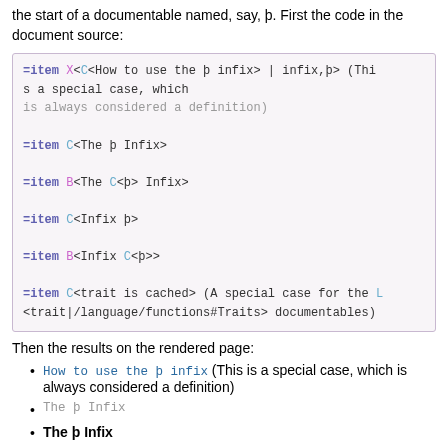the start of a documentable named, say, þ. First the code in the document source:
[Figure (screenshot): Code block showing =item markup examples with colored syntax highlighting]
Then the results on the rendered page:
How to use the þ infix (This is a special case, which is always considered a definition)
The þ Infix
The þ Infix (bold)